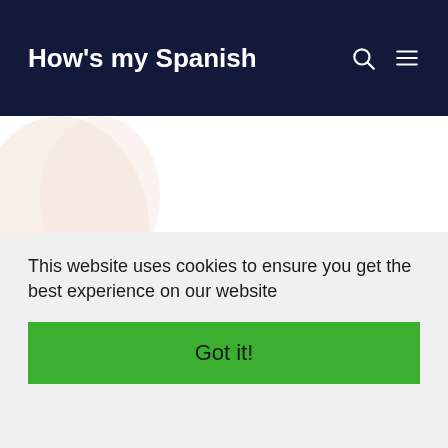How's my Spanish
Latest topics:
This website uses cookies to ensure you get the best experience on our website
Got it!